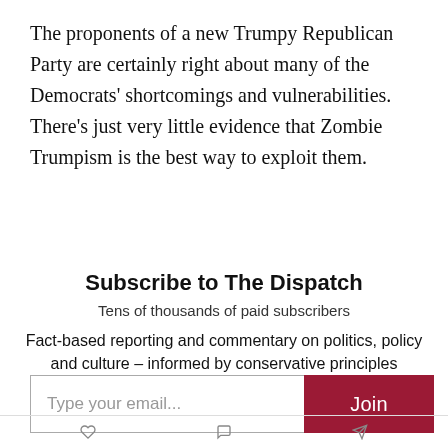The proponents of a new Trumpy Republican Party are certainly right about many of the Democrats’ shortcomings and vulnerabilities. There’s just very little evidence that Zombie Trumpism is the best way to exploit them.
Subscribe to The Dispatch
Tens of thousands of paid subscribers
Fact-based reporting and commentary on politics, policy and culture – informed by conservative principles
Type your email...
Join